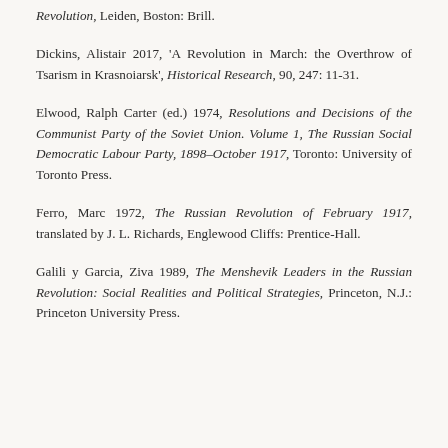Revolution, Leiden, Boston: Brill.
Dickins, Alistair 2017, 'A Revolution in March: the Overthrow of Tsarism in Krasnoiarsk', Historical Research, 90, 247: 11-31.
Elwood, Ralph Carter (ed.) 1974, Resolutions and Decisions of the Communist Party of the Soviet Union. Volume 1, The Russian Social Democratic Labour Party, 1898–October 1917, Toronto: University of Toronto Press.
Ferro, Marc 1972, The Russian Revolution of February 1917, translated by J. L. Richards, Englewood Cliffs: Prentice-Hall.
Galili y Garcia, Ziva 1989, The Menshevik Leaders in the Russian Revolution: Social Realities and Political Strategies, Princeton, N.J.: Princeton University Press.